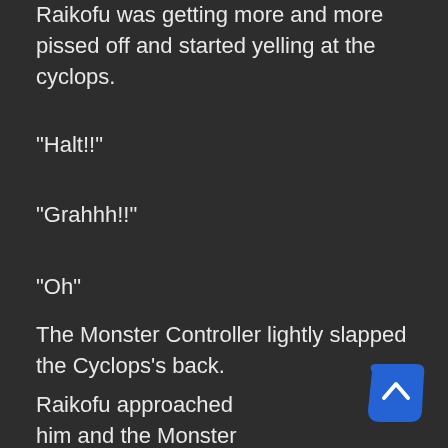Raikofu was getting more and more pissed off and started yelling at the cyclops.
“Halt!!”
“Grahhh!!”
“Oh”
The Monster Controller lightly slapped the Cyclops’s back.
Raikofu approached him and the Monster Controller gave him a report.